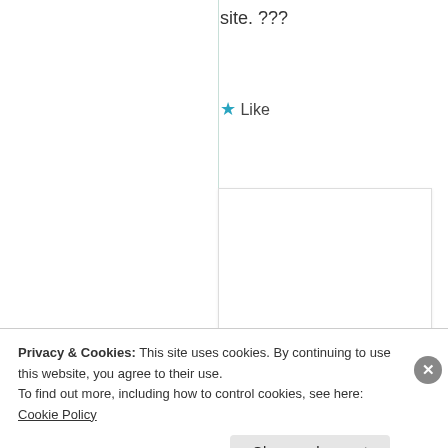site. ???
★ Like
[Figure (illustration): Circular globe avatar showing Earth from space with blue tones and green horizon glow]
the earths pins
Oct
Privacy & Cookies: This site uses cookies. By continuing to use this website, you agree to their use. To find out more, including how to control cookies, see here: Cookie Policy
Close and accept